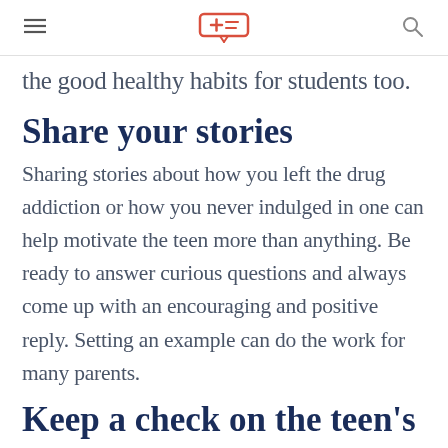[header with hamburger menu, logo, and search icon]
the good healthy habits for students too.
Share your stories
Sharing stories about how you left the drug addiction or how you never indulged in one can help motivate the teen more than anything. Be ready to answer curious questions and always come up with an encouraging and positive reply. Setting an example can do the work for many parents.
Keep a check on the teen's